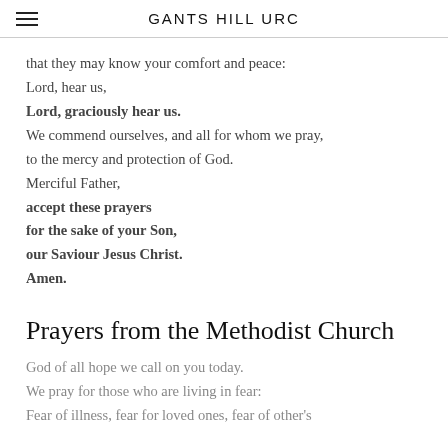GANTS HILL URC
that they may know your comfort and peace:
Lord, hear us,
Lord, graciously hear us.
We commend ourselves, and all for whom we pray, to the mercy and protection of God.
Merciful Father,
accept these prayers
for the sake of your Son,
our Saviour Jesus Christ.
Amen.
Prayers from the Methodist Church
God of all hope we call on you today.
We pray for those who are living in fear:
Fear of illness, fear for loved ones, fear of other's